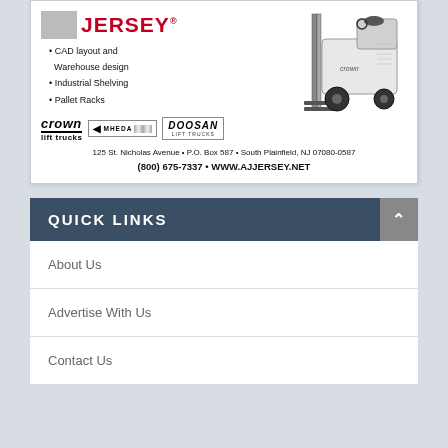[Figure (illustration): Advertisement for AJ Jersey showing the Jersey logo in red, bullet points for CAD layout/Warehouse design, Industrial Shelving, Pallet Racks, Crown lift trucks logo, MHEDA logo, Doosan lift trucks logo, and a forklift image. Address: 125 St. Nicholas Avenue • P.O. Box 587 • South Plainfield, NJ 07080-0587, (800) 675-7337 • WWW.AJJERSEY.NET]
QUICK LINKS
About Us
Advertise With Us
Contact Us